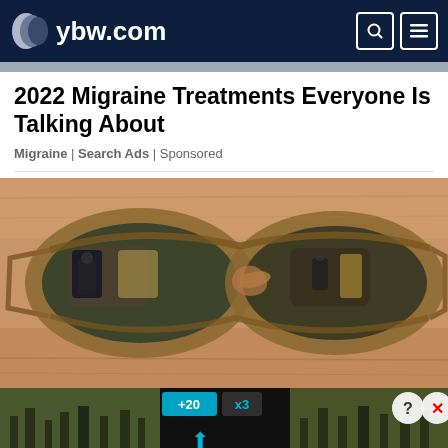ybw.com
2022 Migraine Treatments Everyone Is Talking About
Migraine | Search Ads | Sponsored
[Figure (photo): Close-up photo of eyeglasses on a person's face with reflections in the lenses]
[Figure (screenshot): Ad overlay at bottom showing 'Hold and Move' text with blue icons and +20 / x3 indicators, with outdoor tree/nature background visible]